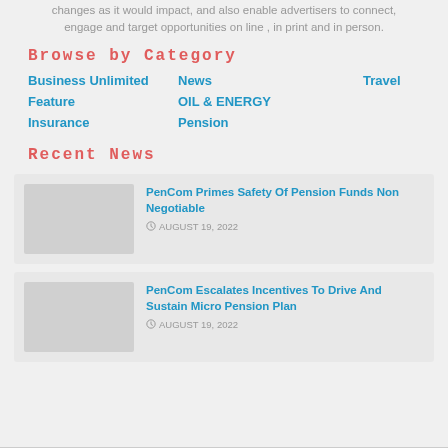changes as it would impact, and also enable advertisers to connect, engage and target opportunities on line , in print and in person.
Browse by Category
Business Unlimited
News
Travel
Feature
OIL & ENERGY
Insurance
Pension
Recent News
PenCom Primes Safety Of Pension Funds Non Negotiable
AUGUST 19, 2022
PenCom Escalates Incentives To Drive And Sustain Micro Pension Plan
AUGUST 19, 2022